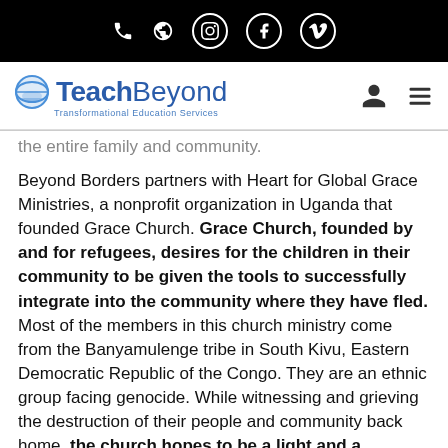TeachBeyond — Transformational Education Services (navigation/logo bar)
the entire family and community.
Beyond Borders partners with Heart for Global Grace Ministries, a nonprofit organization in Uganda that founded Grace Church. Grace Church, founded by and for refugees, desires for the children in their community to be given the tools to successfully integrate into the community where they have fled. Most of the members in this church ministry come from the Banyamulenge tribe in South Kivu, Eastern Democratic Republic of the Congo. They are an ethnic group facing genocide. While witnessing and grieving the destruction of their people and community back home, the church hopes to be a light and a blessing to their congregants and to the Ugandan community, so they are also including local children in the school support program.